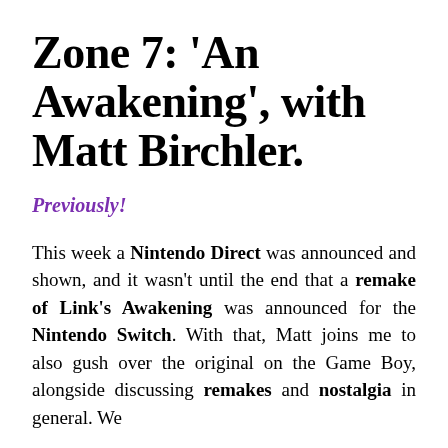Zone 7: 'An Awakening', with Matt Birchler.
Previously!
This week a Nintendo Direct was announced and shown, and it wasn't until the end that a remake of Link's Awakening was announced for the Nintendo Switch. With that, Matt joins me to also gush over the original on the Game Boy, alongside discussing remakes and nostalgia in general. We